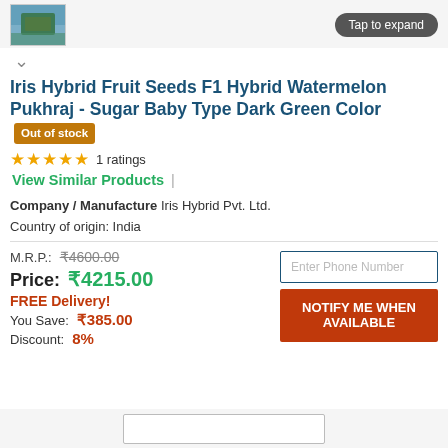[Figure (photo): Product thumbnail image of watermelon seeds, with a 'Tap to expand' button on the right]
Iris Hybrid Fruit Seeds F1 Hybrid Watermelon Pukhraj - Sugar Baby Type Dark Green Color  Out of stock
★★★★★  1 ratings
View Similar Products |
Company / Manufacture  Iris Hybrid Pvt. Ltd.
Country of origin: India
M.R.P.: ₹4600.00
Price: ₹4215.00
FREE Delivery!
You Save: ₹385.00
Discount: 8%